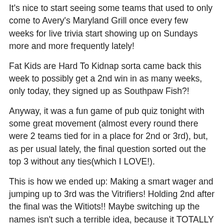It's nice to start seeing some teams that used to only come to Avery's Maryland Grill once every few weeks for live trivia start showing up on Sundays more and more frequently lately!
Fat Kids are Hard To Kidnap sorta came back this week to possibly get a 2nd win in as many weeks, only today, they signed up as Southpaw Fish?!
Anyway, it was a fun game of pub quiz tonight with some great movement (almost every round there were 2 teams tied for in a place for 2nd or 3rd), but, as per usual lately, the final question sorted out the top 3 without any ties(which I LOVE!).
This is how we ended up: Making a smart wager and jumping up to 3rd was the Vitrifiers! Holding 2nd after the final was the Witiots!! Maybe switching up the names isn't such a terrible idea, because it TOTALLY worked for last Sunday's champions! Only tonight they will celebrate the 1st place victory as Southpaw Fish!! If you win 1st place two weeks in a row but used a different name each time, does that still count as back-to-back wins? A little food for thought I guess…
Next week's winner's choice category will be "College Sports Logos" so keep those brains sharp and come get your trivia on at